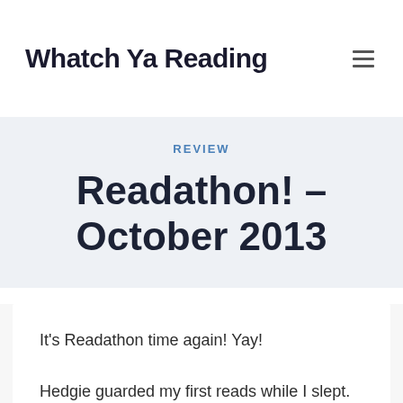Whatch Ya Reading
REVIEW
Readathon! – October 2013
It's Readathon time again! Yay!

Hedgie guarded my first reads while I slept.